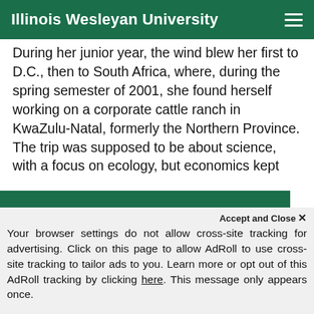Illinois Wesleyan University
During her junior year, the wind blew her first to D.C., then to South Africa, where, during the spring semester of 2001, she found herself working on a corporate cattle ranch in KwaZulu-Natal, formerly the Northern Province. The trip was supposed to be about science, with a focus on ecology, but economics kept
We use cookies to improve your experience on our website. By continuing to use our site...
Accept and Close ✕
Your browser settings do not allow cross-site tracking for advertising. Click on this page to allow AdRoll to use cross-site tracking to tailor ads to you. Learn more or opt out of this AdRoll tracking by clicking here. This message only appears once.
tasks, such as keeping track of grain consumption